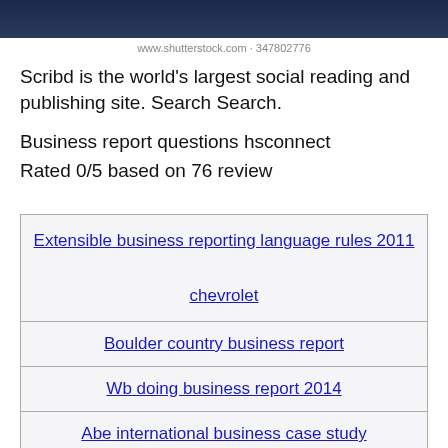[Figure (photo): Dark navy/dark blue banner image at top of page]
www.shutterstock.com · 347802776
Scribd is the world's largest social reading and publishing site. Search Search.
Business report questions hsconnect
Rated 0/5 based on 76 review
| Extensible business reporting language rules 2011
chevrolet |
| Boulder country business report |
| Wb doing business report 2014 |
| Abe international business case study |